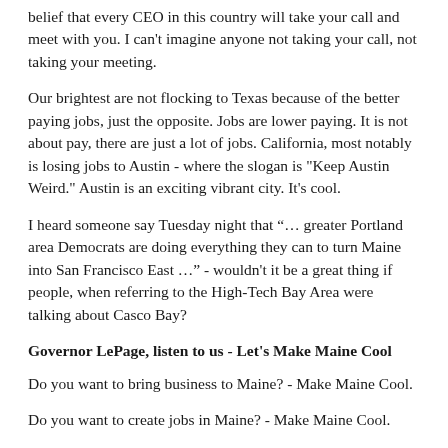belief that every CEO in this country will take your call and meet with you. I can't imagine anyone not taking your call, not taking your meeting.
Our brightest are not flocking to Texas because of the better paying jobs, just the opposite. Jobs are lower paying. It is not about pay, there are just a lot of jobs. California, most notably is losing jobs to Austin - where the slogan is "Keep Austin Weird." Austin is an exciting vibrant city. It's cool.
I heard someone say Tuesday night that “… greater Portland area Democrats are doing everything they can to turn Maine into San Francisco East …” - wouldn't it be a great thing if people, when referring to the High-Tech Bay Area were talking about Casco Bay?
Governor LePage, listen to us - Let's Make Maine Cool
Do you want to bring business to Maine? - Make Maine Cool.
Do you want to create jobs in Maine? - Make Maine Cool.